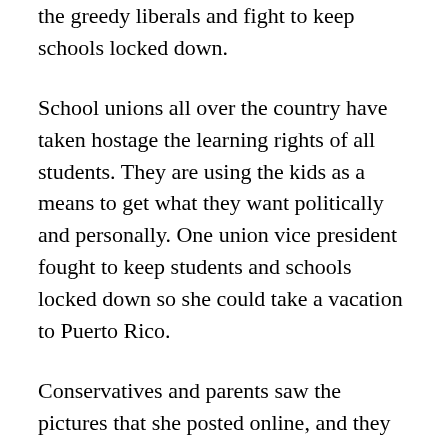the greedy liberals and fight to keep schools locked down.
School unions all over the country have taken hostage the learning rights of all students. They are using the kids as a means to get what they want politically and personally. One union vice president fought to keep students and schools locked down so she could take a vacation to Puerto Rico.
Conservatives and parents saw the pictures that she posted online, and they were outraged. This teacher should have been in the classroom but saw the closures as a way of taking a vacation to a spot where she could party without COVID pressures. She found a place where a mask was not forced, and she flaunted it all over social media.